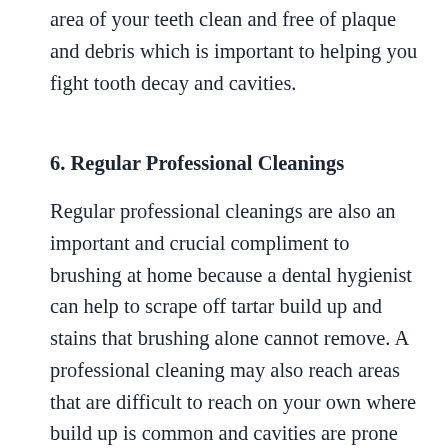area of your teeth clean and free of plaque and debris which is important to helping you fight tooth decay and cavities.
6. Regular Professional Cleanings
Regular professional cleanings are also an important and crucial compliment to brushing at home because a dental hygienist can help to scrape off tartar build up and stains that brushing alone cannot remove. A professional cleaning may also reach areas that are difficult to reach on your own where build up is common and cavities are prone to form, giving you both a head start on your dental care regimen and helping to make all your effort with brushing worth it in the fight to stay cavity free and keep your smile bright and